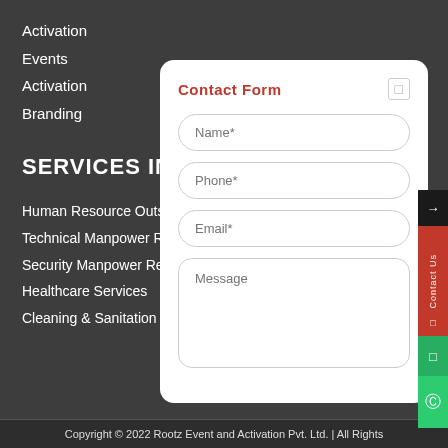Activation
Events
Activation
Branding
SERVICES IN MA
Human Resource Outs
Technical Manpower R
Security Manpower Re
Healthcare Services
Cleaning & Sanitation
[Figure (screenshot): Contact Form modal overlay with fields: Name*, Phone*, Email*, Message]
Copyright © 2022 Rootz Event and Activation Pvt. Ltd. | All Rights